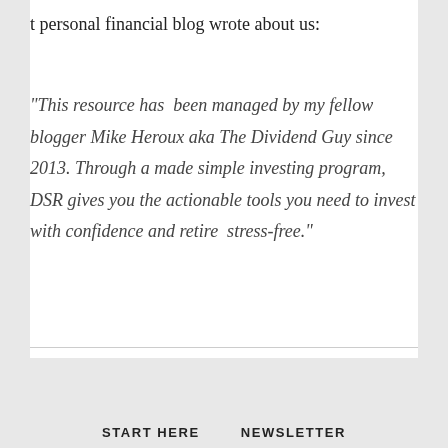t personal financial blog wrote about us:
“This resource has  been managed by my fellow blogger Mike Heroux aka The Dividend Guy since 2013. Through a made simple investing program, DSR gives you the actionable tools you need to invest with confidence and retire  stress-free.”
START HERE    NEWSLETTER